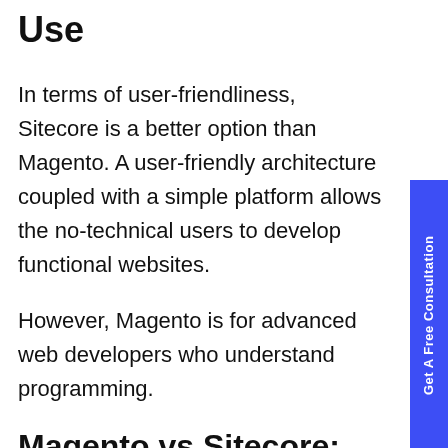Use
In terms of user-friendliness, Sitecore is a better option than Magento. A user-friendly architecture coupled with a simple platform allows the no-technical users to develop functional websites.
However, Magento is for advanced web developers who understand programming.
Magento vs Sitecore: Support
The good news is that Open Source Magento (free version) features different support groups, including Magento and DevDocs Forum. Similarly, Magento Commerce (Enterprise) offers efficient customer